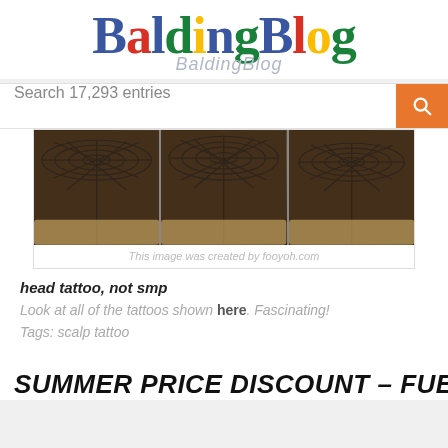[Figure (logo): BaldingBlog logo in colorful Google-style lettering with shadow reflection text below]
Search 17,293 entries
[Figure (photo): Three-panel image showing close-up of a scalp with tattoo grid pattern, captioned 'This image was created by fooyoh.com']
This image was created by fooyoh.com
head tattoo, not smp
Look at all of the tattoos shown here. Fascinating!
Tags: scalp tattoo
SUMMER PRICE DISCOUNT – FUE $6